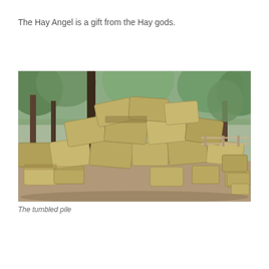The Hay Angel is a gift from the Hay gods.
[Figure (photo): A large tumbled pile of hay bales scattered outdoors under trees, with dappled sunlight and dirt ground visible. A wooden pole is in the foreground and a fence and structures are visible in the background.]
The tumbled pile